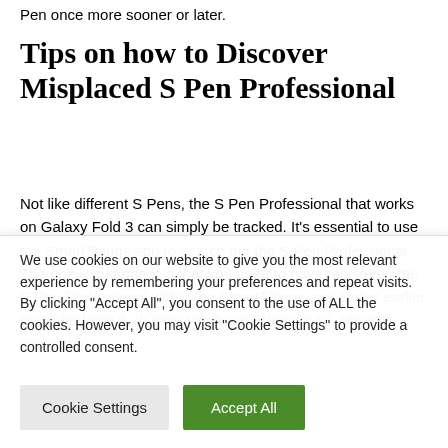Pen once more sooner or later.
Tips on how to Discover Misplaced S Pen Professional
Not like different S Pens, the S Pen Professional that works on Galaxy Fold 3 can simply be tracked. It's essential to use the SmartThings app to search out the S Pen Professional. The one requirement is that you need to have registered the S Pen Professional within the SmartThings app earlier earlier than shedding it. In case you have achieved so, observe these steps
We use cookies on our website to give you the most relevant experience by remembering your preferences and repeat visits. By clicking "Accept All", you consent to the use of ALL the cookies. However, you may visit "Cookie Settings" to provide a controlled consent.
Cookie Settings
Accept All